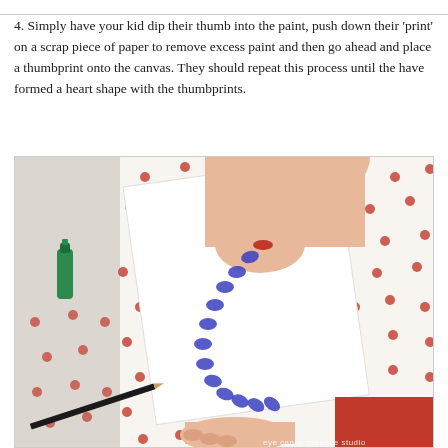4. Simply have your kid dip their thumb into the paint, push down their 'print' on a scrap piece of paper to remove excess paint and then go ahead and place a thumbprint onto the canvas. They should repeat this process until the have formed a heart shape with the thumbprints.
[Figure (photo): A child pressing their painted thumb onto a white canvas, forming a C-shaped arc of blue thumbprints that will eventually become a heart. A green paint bottle and black pencil are visible nearby on a white fabric with red polka dots background.]